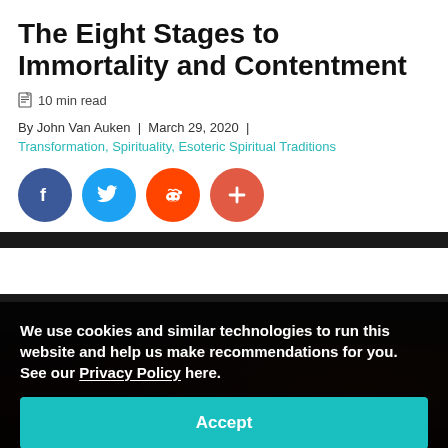The Eight Stages to Immortality and Contentment
10 min read
By John Van Auken  |  March 29, 2020  |
Transformation, Spirituality, Esoteric Spiritual Traditions
[Figure (infographic): Social share buttons: Facebook (dark blue), Twitter (light blue), Reddit (orange), Plus/share (coral red)]
[Figure (photo): Dark background concert/event photo partially visible behind cookie consent banner]
We use cookies and similar technologies to run this website and help us make recommendations for you. See our Privacy Policy here.
Accept